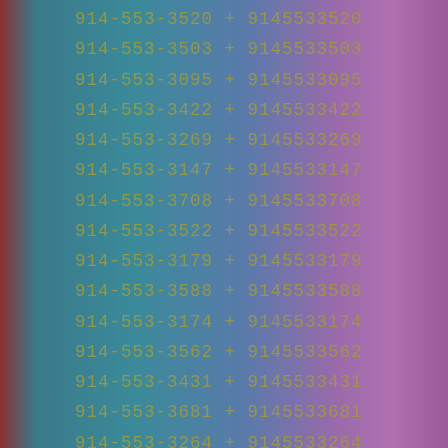914-553-3520 + 9145533520
914-553-3503 + 9145533503
914-553-3095 + 9145533095
914-553-3422 + 9145533422
914-553-3269 + 9145533269
914-553-3147 + 9145533147
914-553-3708 + 9145533708
914-553-3522 + 9145533522
914-553-3179 + 9145533179
914-553-3588 + 9145533588
914-553-3174 + 9145533174
914-553-3562 + 9145533562
914-553-3431 + 9145533431
914-553-3681 + 9145533681
914-553-3264 + 9145533264
914-553-3981 + 9145533981
914-553-3525 + 9145533525
914-553-3499 + 9145533499
914-553-3244 + 9145533244
914-553-3097 + 9145533097
914-553-3471 + 9145533471
914-553-3374 + 9145533374
914-553-3729 + 9145533729